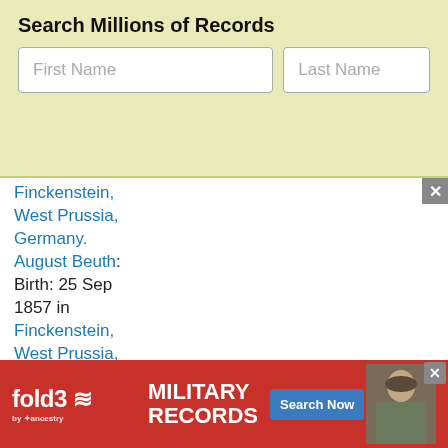Search Millions of Records
[Figure (screenshot): Search form with First Name and Last Name input fields on a light yellow-green background]
Finckenstein, West Prussia, Germany. August Beuth: Birth: 25 Sep 1857 in Finckenstein, West Prussia, Germany. Augustine Beuth: Birth: 13 May 1862 in Finckenstein, West Prussia, Germany.
[Figure (screenshot): Fold3 by Ancestry advertisement banner in red: MILITARY RECORDS with Search Now button and soldier photo]